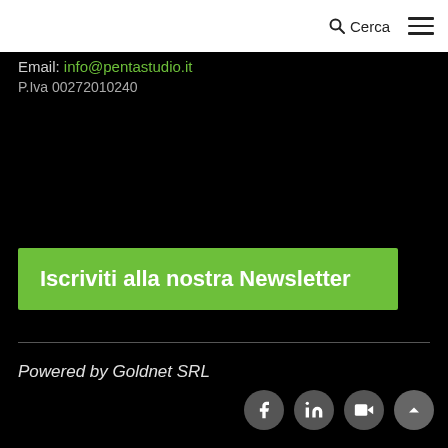Cerca
Email: info@pentastudio.it
P.Iva 00272010240
Iscriviti alla nostra Newsletter
Powered by Goldnet SRL